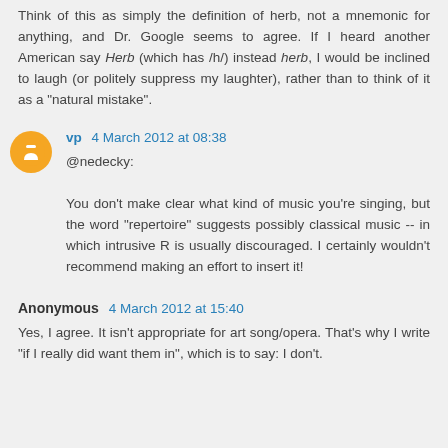Think of this as simply the definition of herb, not a mnemonic for anything, and Dr. Google seems to agree. If I heard another American say Herb (which has /h/) instead herb, I would be inclined to laugh (or politely suppress my laughter), rather than to think of it as a "natural mistake".
vp 4 March 2012 at 08:38
@nedecky:
You don't make clear what kind of music you're singing, but the word "repertoire" suggests possibly classical music -- in which intrusive R is usually discouraged. I certainly wouldn't recommend making an effort to insert it!
Anonymous 4 March 2012 at 15:40
Yes, I agree. It isn't appropriate for art song/opera. That's why I write "if I really did want them in", which is to say: I don't.